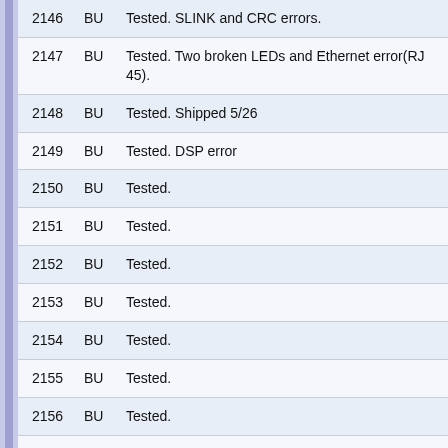| 2146 | BU | Tested. SLINK and CRC errors. |
| 2147 | BU | Tested. Two broken LEDs and Ethernet error(RJ 45). |
| 2148 | BU | Tested. Shipped 5/26 |
| 2149 | BU | Tested. DSP error |
| 2150 | BU | Tested. |
| 2151 | BU | Tested. |
| 2152 | BU | Tested. |
| 2153 | BU | Tested. |
| 2154 | BU | Tested. |
| 2155 | BU | Tested. |
| 2156 | BU | Tested. |
| 2157 | BU | Tested. |
| 2158 | BU | Tested. |
| 2159 | BU | Tested. |
| 2160 | BU | Tested. |